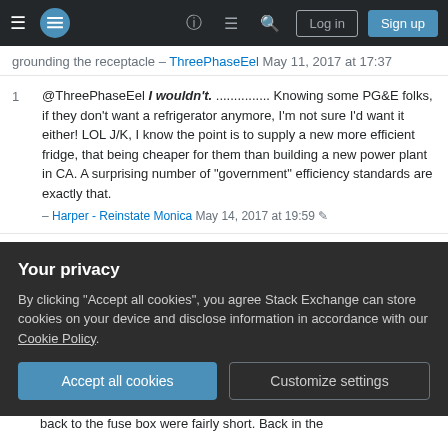Stack Exchange navigation bar with Log in and Sign up buttons
grounding the receptacle – ThreePhaseEel May 11, 2017 at 17:37
1  @ThreePhaseEel I wouldn't. ............... Knowing some PG&E folks, if they don't want a refrigerator anymore, I'm not sure I'd want it either! LOL J/K, I know the point is to supply a new more efficient fridge, that being cheaper for them than building a new power plant in CA. A surprising number of "government" efficiency standards are exactly that. – Harper - Reinstate Monica May 14, 2017 at 19:59
Add a comment
Sorted by:
Your privacy
By clicking "Accept all cookies", you agree Stack Exchange can store cookies on your device and disclose information in accordance with our Cookie Policy.
Accept all cookies   Customize settings
back to the fuse box were fairly short. Back in the